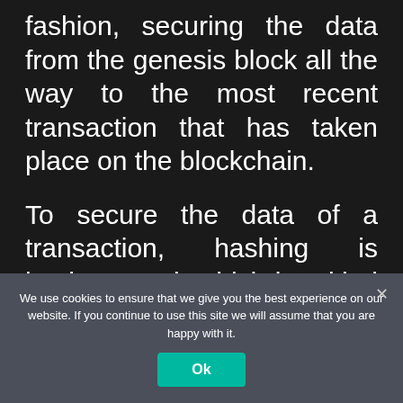fashion, securing the data from the genesis block all the way to the most recent transaction that has taken place on the blockchain.

To secure the data of a transaction, hashing is implemented, which is a kind of security system put into place to make sure that all the transactions get completed in real-time without any errors or misconceptions of any
We use cookies to ensure that we give you the best experience on our website. If you continue to use this site we will assume that you are happy with it.